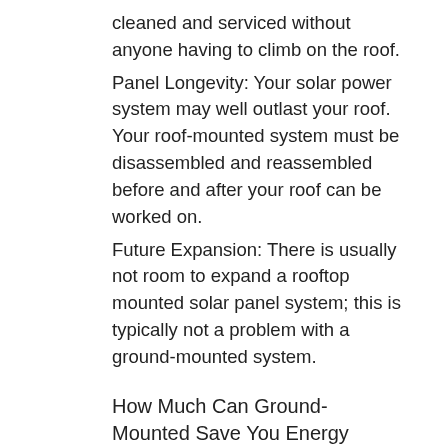cleaned and serviced without anyone having to climb on the roof.
Panel Longevity: Your solar power system may well outlast your roof. Your roof-mounted system must be disassembled and reassembled before and after your roof can be worked on.
Future Expansion: There is usually not room to expand a rooftop mounted solar panel system; this is typically not a problem with a ground-mounted system.
How Much Can Ground-Mounted Save You Energy Costs?
Whether it is mounted on your roof or on the ground, lower electric bills are one of the best